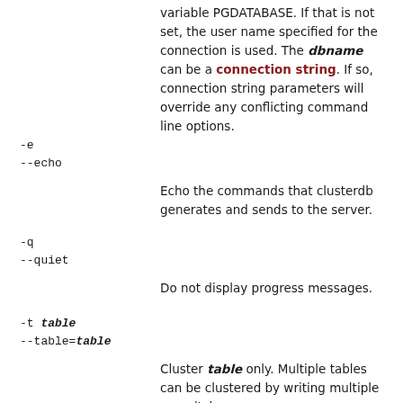variable PGDATABASE. If that is not set, the user name specified for the connection is used. The dbname can be a connection string. If so, connection string parameters will override any conflicting command line options.
-e
--echo
Echo the commands that clusterdb generates and sends to the server.
-q
--quiet
Do not display progress messages.
-t table
--table=table
Cluster table only. Multiple tables can be clustered by writing multiple -t switches.